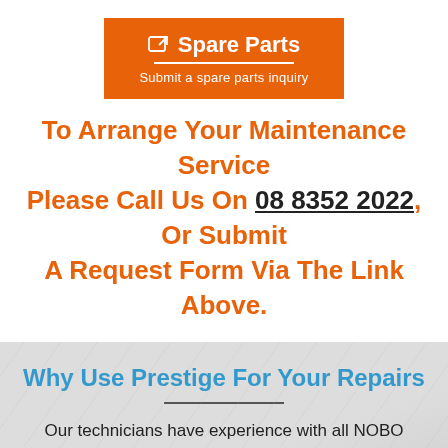[Figure (other): Orange button/link box labeled 'Spare Parts' with subtitle 'Submit a spare parts inquiry']
To Arrange Your Maintenance Service Please Call Us On 08 8352 2022, Or Submit A Request Form Via The Link Above.
Why Use Prestige For Your Repairs
Our technicians have experience with all NOBO Heaters. We have serviced appliances